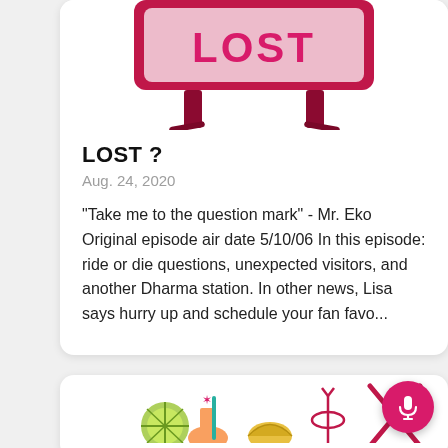[Figure (illustration): Illustration of a retro-style sign on legs with pink/crimson coloring, partially cropped at top, showing the letters 'LOST' on a decorative board mounted on two legs]
LOST ?
Aug. 24, 2020
"Take me to the question mark" - Mr. Eko Original episode air date 5/10/06 In this episode: ride or die questions, unexpected visitors, and another Dharma station. In other news, Lisa says hurry up and schedule your fan favo...
[Figure (illustration): Partially visible card at bottom showing illustrated cocktail drinks with lime, taco, and decorative elements in red/pink color scheme, with a pink microphone FAB button in lower right corner]